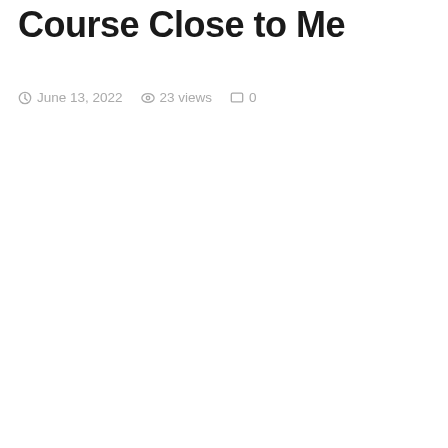Course Close to Me
June 13, 2022  23 views  0